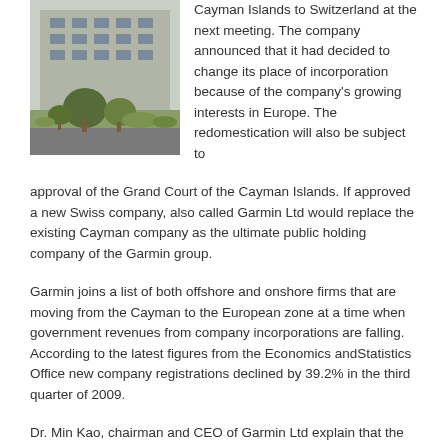[Figure (photo): Photo of a building exterior with trees and landscaping in the foreground, parking lot visible.]
Cayman Islands to Switzerland at the next meeting. The company announced that it had decided to change its place of incorporation because of the company's growing interests in Europe. The redomestication will also be subject to approval of the Grand Court of the Cayman Islands. If approved a new Swiss company, also called Garmin Ltd would replace the existing Cayman company as the ultimate public holding company of the Garmin group.
Garmin joins a list of both offshore and onshore firms that are moving from the Cayman to the European zone at a time when government revenues from company incorporations are falling. According to the latest figures from the Economics andStatistics Office new company registrations declined by 39.2% in the third quarter of 2009.
Dr. Min Kao, chairman and CEO of Garmin Ltd explain that the firm had determined that it was in its best interest to change the jurisdiction of incorporation of the group parent company. "Switzerland is centrally located in Europe in close proximity to our major Western and Eastern European markets," he said adding that Garmin's footprint in Europe had grown considerably because of acquisitions in ten European countries during the last four years as well as the establishment of an office in Poland.
“The Swiss office will provide a base for expansion of certain corporate